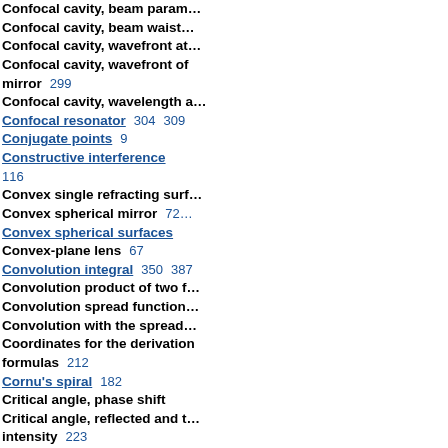Confocal cavity, beam param…
Confocal cavity, beam waist…
Confocal cavity, wavefront at…
Confocal cavity, wavefront of mirror  299
Confocal cavity, wavelength a…
Confocal resonator  304 309
Conjugate points  9
Constructive interference  116
Convex single refracting surf…
Convex spherical mirror  72
Convex spherical surfaces
Convex-plane lens  67
Convolution integral  350 387
Convolution product of two f…
Convolution spread function…
Convolution with the spread…
Coordinates for the derivation formulas  212
Cornu's spiral  182
Critical angle, phase shift
Critical angle, reflected and t… intensity  223
Critical angle, total reflection…